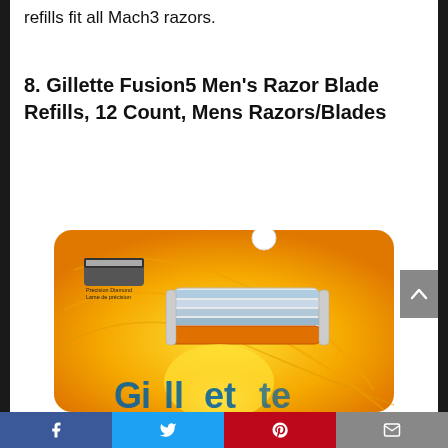refills fit all Mach3 razors.
8. Gillette Fusion5 Men's Razor Blade Refills, 12 Count, Mens Razors/Blades
[Figure (photo): Product photo of Gillette Fusion5 razor blade refills in orange packaging]
Facebook | Twitter | Pinterest | Email social sharing bar